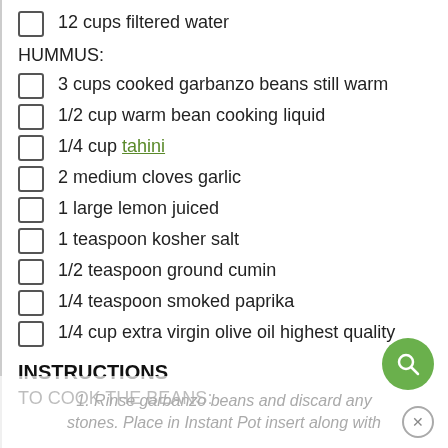12 cups filtered water
HUMMUS:
3 cups cooked garbanzo beans still warm
1/2 cup warm bean cooking liquid
1/4 cup tahini
2 medium cloves garlic
1 large lemon juiced
1 teaspoon kosher salt
1/2 teaspoon ground cumin
1/4 teaspoon smoked paprika
1/4 cup extra virgin olive oil highest quality
INSTRUCTIONS
TO COOK THE BEANS:
1. Rinse garbanzo beans and discard any stones. Place in Instant Pot insert along with